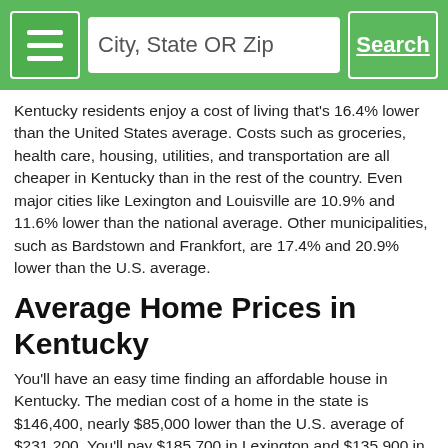City, State OR Zip | Search
Kentucky residents enjoy a cost of living that's 16.4% lower than the United States average. Costs such as groceries, health care, housing, utilities, and transportation are all cheaper in Kentucky than in the rest of the country. Even major cities like Lexington and Louisville are 10.9% and 11.6% lower than the national average. Other municipalities, such as Bardstown and Frankfort, are 17.4% and 20.9% lower than the U.S. average.
Average Home Prices in Kentucky
You'll have an easy time finding an affordable house in Kentucky. The median cost of a home in the state is $146,400, nearly $85,000 lower than the U.S. average of $231,200. You'll pay $185,700 in Lexington and $135,900 in Frankfort, both of which are well below the country's average. Though prices vary by city, Kentucky is an